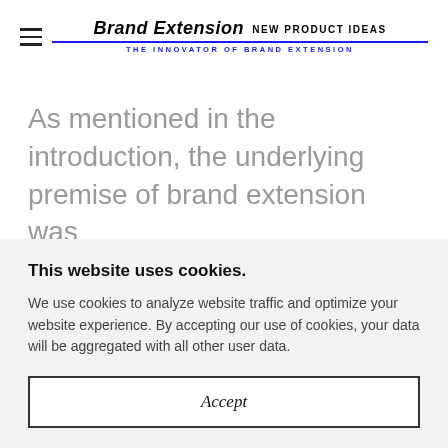Brand Extension NEW PRODUCT IDEAS — THE INNOVATOR OF BRAND EXTENSION
As mentioned in the introduction, the underlying premise of brand extension was
This website uses cookies.
We use cookies to analyze website traffic and optimize your website experience. By accepting our use of cookies, your data will be aggregated with all other user data.
Accept